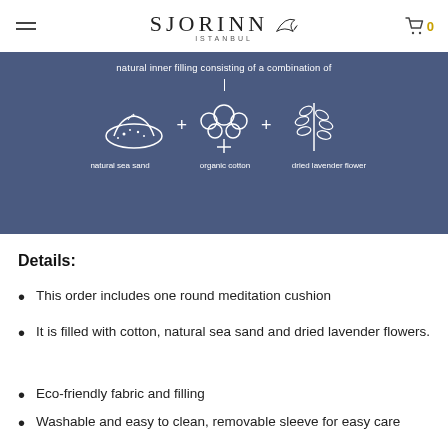SJORINN ISTANBUL
[Figure (infographic): Blue banner with icons showing natural inner filling: natural sea sand + organic cotton + dried lavender flower]
Details:
This order includes one round meditation cushion
It is filled with cotton, natural sea sand and dried lavender flowers.
Eco-friendly fabric and filling
Washable and easy to clean, removable sleeve for easy care